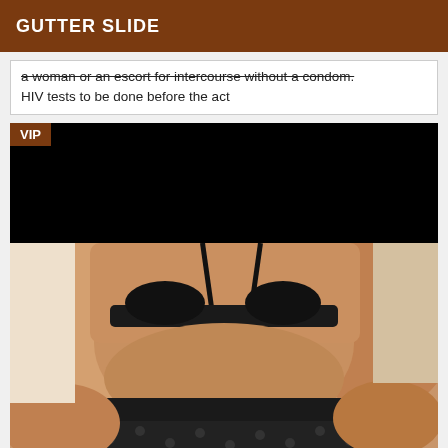GUTTER SLIDE
a woman or an escort for intercourse without a condom. HIV tests to be done before the act
[Figure (photo): Listing card with VIP badge and blacked-out upper portion, followed by a photo of a person in black lingerie]
[Figure (photo): Photo showing a person wearing black lingerie including a bra and patterned underwear with polka dots]